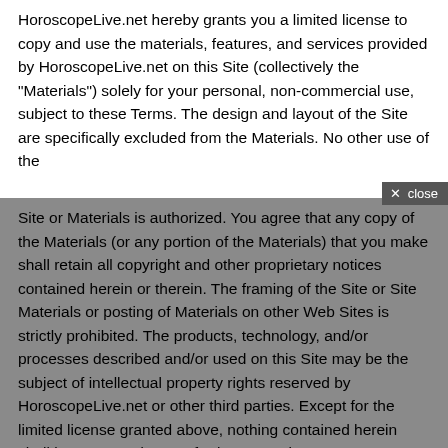HoroscopeLive.net hereby grants you a limited license to copy and use the materials, features, and services provided by HoroscopeLive.net on this Site (collectively the "Materials") solely for your personal, non-commercial use, subject to these Terms. The design and layout of the Site are specifically excluded from the Materials. No other use of the Site or Materials is authorized. You agree that any copy of the Materials (or any portion of the Materials) that you make shall retain all copyright and other proprietary notices contained herein or therein. The framing of the Site or Site Materials or posting of Materials on other Web Sites is strictly prohibited. The products, technology, and/or processes described and/or used on this Site may be the subject of intellectual property rights reserved by HoroscopeLive.net or other third parties. Except for the limited license granted above, nothing contained herein shall be construed as conferring to you in any manner, whether by implication, estoppel or otherwise, any license, title, or ownership of or to any intellectual property right of